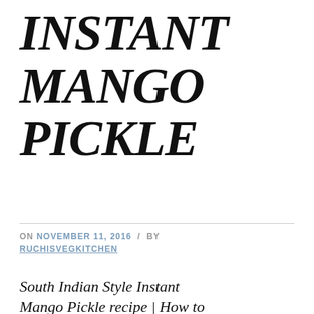INSTANT MANGO PICKLE
ON NOVEMBER 11, 2016 / BY RUCHISVEGKITCHEN
South Indian Style Instant Mango Pickle recipe | How to